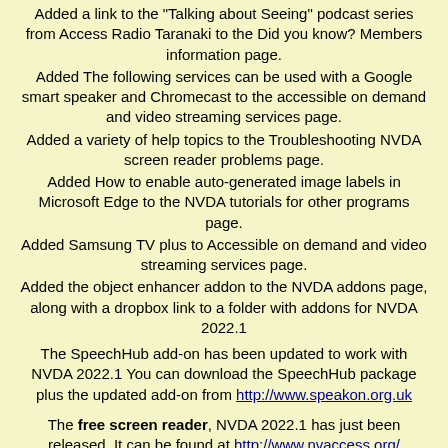Added a link to the "Talking about Seeing" podcast series from Access Radio Taranaki to the Did you know? Members information page.
Added The following services can be used with a Google smart speaker and Chromecast to the accessible on demand and video streaming services page.
Added a variety of help topics to the Troubleshooting NVDA screen reader problems page.
Added How to enable auto-generated image labels in Microsoft Edge to the NVDA tutorials for other programs page.
Added Samsung TV plus to Accessible on demand and video streaming services page.
Added the object enhancer addon to the NVDA addons page, along with a dropbox link to a folder with addons for NVDA 2022.1
The SpeechHub add-on has been updated to work with NVDA 2022.1 You can download the SpeechHub package plus the updated add-on from http://www.speakon.org.uk
The free screen reader, NVDA 2022.1 has just been released. It can be found at http://www.nvaccess.org/